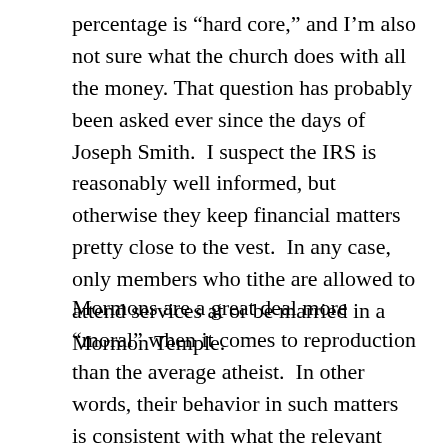percentage is “hard core,” and I’m also not sure what the church does with all the money. That question has probably been asked ever since the days of Joseph Smith.  I suspect the IRS is reasonably well informed, but otherwise they keep financial matters pretty close to the vest.  In any case, only members who tithe are allowed to attend services at or be married in a Mormon Temple.
Mormons are a great deal more “moral” when it comes to reproduction than the average atheist.  In other words, their behavior in such matters is consistent with what the relevant predispositions accomplished at the time they evolved.  For example, the lady who tossed the